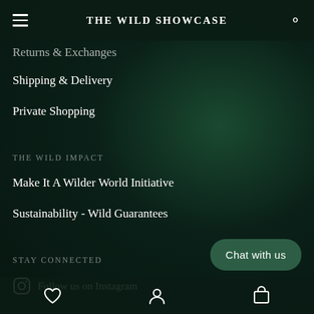THE WILD SHOWCASE
Returns & Exchanges
Shipping & Delivery
Private Shopping
THE WILD IMPACT
Make It A Wilder World Initiative
Sustainability - Wild Guarantees
STAY CONNECTED
Follow us on Instagram
Chat with us